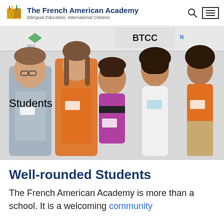The French American Academy — Bilingual Education, International Citizens
[Figure (photo): Five school-age children posing together in front of a sponsor backdrop with logos including BTCC and NationsFirst. Three children wear orange polo shirts, one wears a gray button-up, and one wears a white dress. The text 'Students' appears overlaid in the lower-left area of the image.]
Well-rounded Students
The French American Academy is more than a school. It is a welcoming community